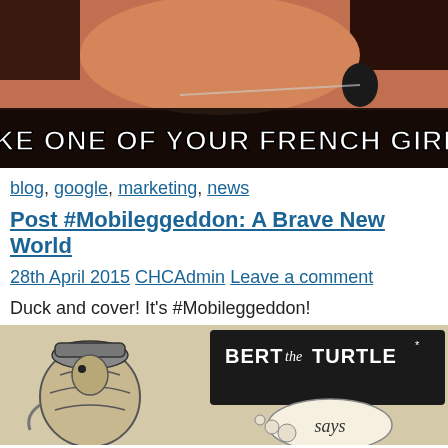[Figure (photo): Meme image of a woman reclining with the text 'LIKE ONE OF YOUR FRENCH GIRLS' overlaid at the bottom]
blog, google, marketing, news
Post #Mobileggeddon: A Brave New World
28th April 2015 CHCAdmin Leave a comment
Duck and cover! It's #Mobileggeddon!
[Figure (illustration): Illustration of 'Bert the Turtle' character — a cartoon turtle ducking into its shell, with 'BERT the TURTLE says' text visible]